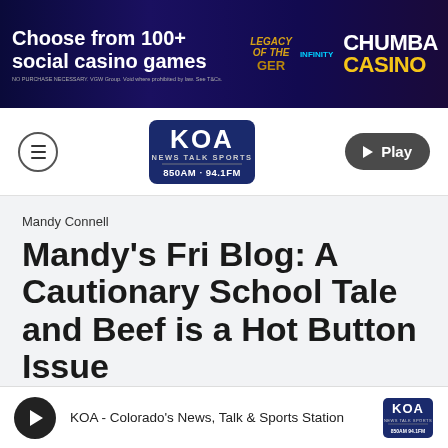[Figure (illustration): Chumba Casino advertisement banner: 'Choose from 100+ social casino games' with colorful gaming graphics and Chumba Casino logo]
KOA News Talk Sports 850AM · 94.1FM
Mandy Connell
Mandy's Fri Blog: A Cautionary School Tale and Beef is a Hot Button Issue
Mar 5, 2021
KOA - Colorado's News, Talk & Sports Station